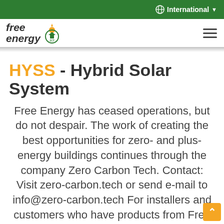International
[Figure (logo): Free Energy logo with sun icon and circular badge]
HYSS - Hybrid Solar System
Free Energy has ceased operations, but do not despair. The work of creating the best opportunities for zero- and plus-energy buildings continues through the company Zero Carbon Tech. Contact: Visit zero-carbon.tech or send e-mail to info@zero-carbon.tech For installers and customers who have products from Free Energy and need support or spare